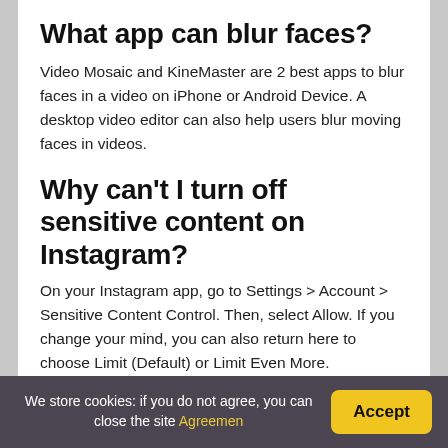What app can blur faces?
Video Mosaic and KineMaster are 2 best apps to blur faces in a video on iPhone or Android Device. A desktop video editor can also help users blur moving faces in videos.
Why can't I turn off sensitive content on Instagram?
On your Instagram app, go to Settings > Account > Sensitive Content Control. Then, select Allow. If you change your mind, you can also return here to choose Limit (Default) or Limit Even More.
We store cookies: if you do not agree, you can close the site Agreemen